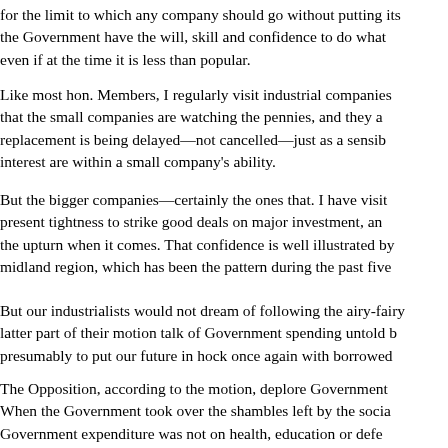for the limit to which any company should go without putting its the Government have the will, skill and confidence to do what even if at the time it is less than popular.
Like most hon. Members, I regularly visit industrial companies that the small companies are watching the pennies, and they a replacement is being delayed—not cancelled—just as a sensib interest are within a small company's ability.
But the bigger companies—certainly the ones that. I have visi present tightness to strike good deals on major investment, an the upturn when it comes. That confidence is well illustrated by midland region, which has been the pattern during the past five
But our industrialists would not dream of following the airy-fairy latter part of their motion talk of Government spending untold b presumably to put our future in hock once again with borrowed
The Opposition, according to the motion, deplore Government When the Government took over the shambles left by the socia Government expenditure was not on health, education or defe As my hon. Friend the Member for Horsham (Sir P. Hordern)